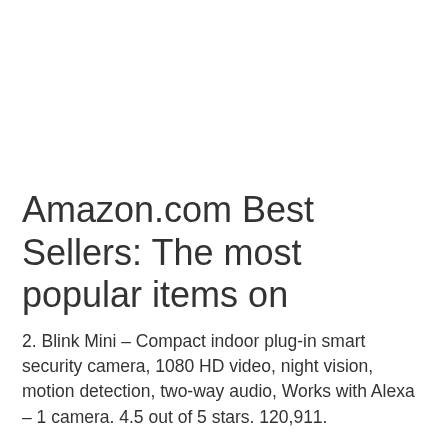Amazon.com Best Sellers: The most popular items on
2. Blink Mini – Compact indoor plug-in smart security camera, 1080 HD video, night vision, motion detection, two-way audio, Works with Alexa – 1 camera. 4.5 out of 5 stars. 120,911.